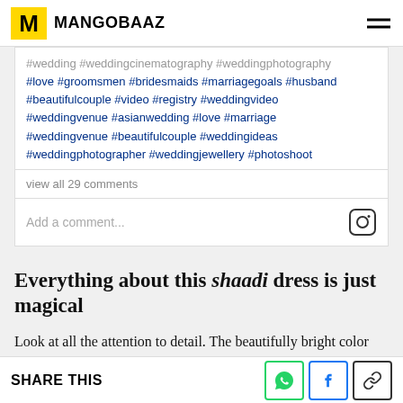MANGOBAAZ
#wedding #weddingcinematography #weddingphotography #love #groomsmen #bridesmaids #marriagegoals #husband #beautifulcouple #video #registry #weddingvideo #weddingvenue #asianwedding #love #marriage #weddingvenue #beautifulcouple #weddingideas #weddingphotographer #weddingjewellery #photoshoot
view all 29 comments
Add a comment...
Everything about this shaadi dress is just magical
Look at all the attention to detail. The beautifully bright color and the intricate embroidery... uff!
SHARE THIS